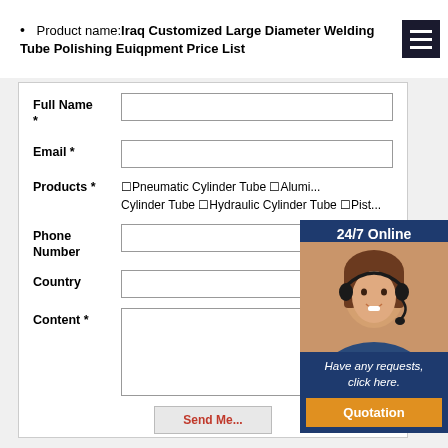Product name: Iraq Customized Large Diameter Welding Tube Polishing Euiqpment Price List
[Figure (screenshot): Web form for contact/inquiry with fields: Full Name, Email, Products (checkboxes), Phone Number, Country, Content, and a Send Message button. An overlaid chat widget shows '24/7 Online', a photo of a woman with headset, 'Have any requests, click here.' and a 'Quotation' button.]
Full Name *
Email *
Products * □Pneumatic Cylinder Tube □Alumi... Cylinder Tube □Hydraulic Cylinder Tube □Pisto...
Phone Number
Country
Content *
24/7 Online
Have any requests, click here.
Quotation